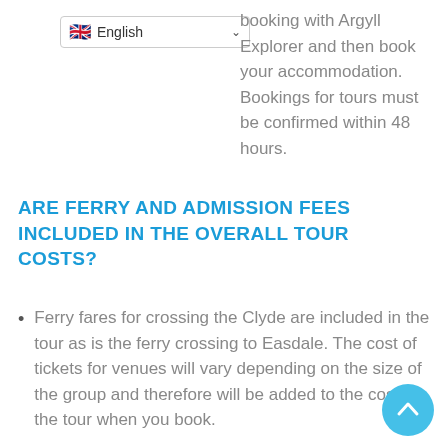booking with Argyll Explorer and then book your accommodation.  Bookings for tours must be confirmed within 48 hours.
ARE FERRY AND ADMISSION FEES INCLUDED IN THE OVERALL TOUR COSTS?
Ferry fares for crossing the Clyde are included in the tour as is the ferry crossing to Easdale. The cost of tickets for venues will vary depending on the size of the group and therefore will be added to the cost of the tour when you book.